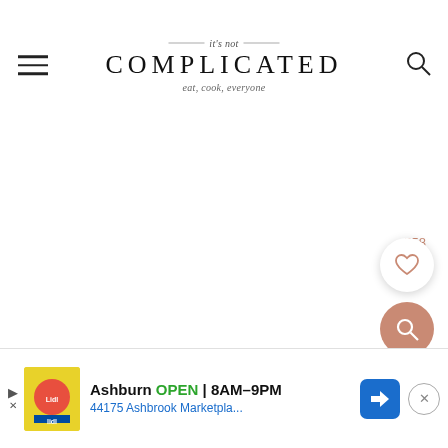it's not COMPLICATED — eat, cook, everyone
[Figure (screenshot): White blank content area of a recipe website]
558
[Figure (illustration): Heart/like button (white circle with salmon heart icon) and search button (salmon circle with white magnifying glass)]
[Figure (infographic): Advertisement banner: Lidl store in Ashburn OPEN 8AM-9PM, 44175 Ashbrook Marketpla... with navigation icon and close button]